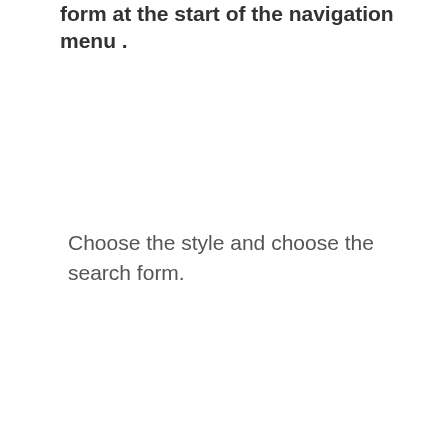form at the start of the navigation menu .
Choose the style and choose the search form.